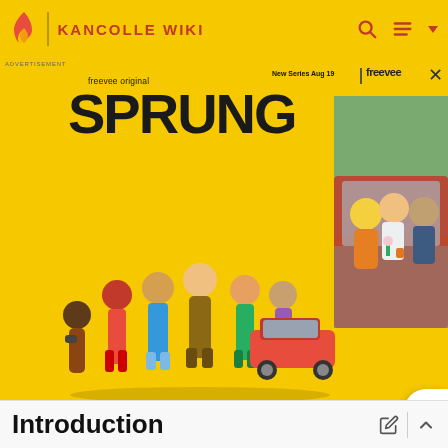KANCOLLE WIKI
[Figure (screenshot): Advertisement banner for Amazon Freevee original series 'SPRUNG' on yellow background, showing cast characters and a car scene photo. New Series Aug 19 | freevee. Close (X) button top right.]
ADVERTISEMENT
[Figure (screenshot): Gray placeholder rectangle for advertisement content area]
ADVERTISEMENT
Introduction